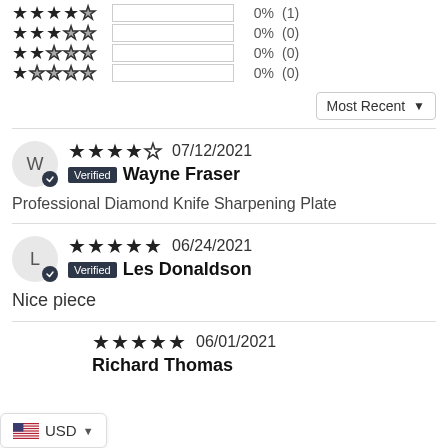4 stars: 0% (1)
3 stars: 0% (0)
2 stars: 0% (0)
1 star: 0% (0)
Most Recent ▼
★★★★☆ 07/12/2021 Verified Wayne Fraser
Professional Diamond Knife Sharpening Plate
★★★★★ 06/24/2021 Verified Les Donaldson
Nice piece
★★★★★ 06/01/2021 Richard Thomas